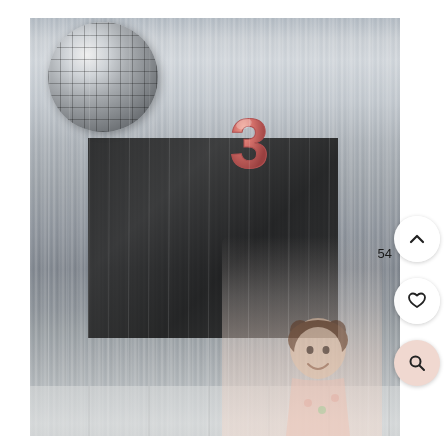[Figure (photo): A young toddler girl smiling in front of a silver metallic foil fringe/tinsel curtain backdrop. A large mirrored disco ball is visible in the upper left, and a rose gold number '3' balloon is in the center background. UI navigation buttons (up arrow, heart/like, magnifying glass) are on the right side, along with the number 54. The child has pigtails and wears a floral dress.]